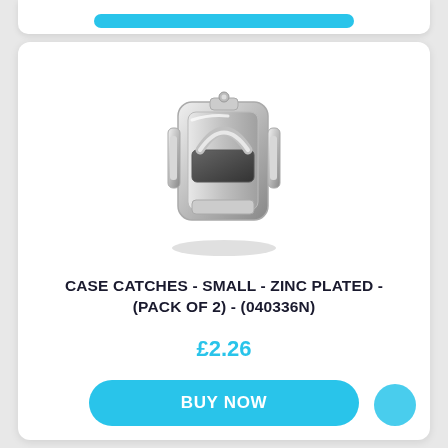[Figure (photo): A small zinc plated case catch/latch hardware item, silver metallic, photographed on white background]
CASE CATCHES - SMALL - ZINC PLATED - (PACK OF 2) - (040336N)
£2.26
BUY NOW